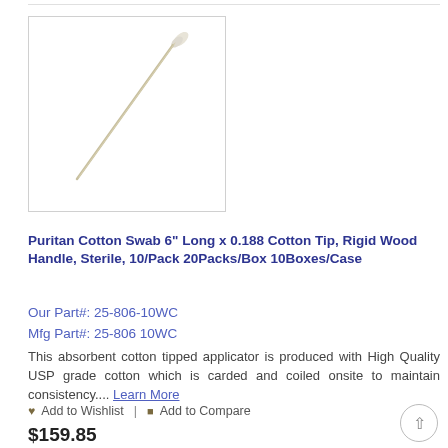[Figure (photo): A single cotton swab / applicator with a white cotton tip on a rigid wood handle, photographed diagonally on a white background.]
Puritan Cotton Swab 6" Long x 0.188 Cotton Tip, Rigid Wood Handle, Sterile, 10/Pack 20Packs/Box 10Boxes/Case
Our Part#: 25-806-10WC
Mfg Part#: 25-806 10WC
This absorbent cotton tipped applicator is produced with High Quality USP grade cotton which is carded and coiled onsite to maintain consistency.... Learn More
♥ Add to Wishlist | ⊞ Add to Compare
$159.85